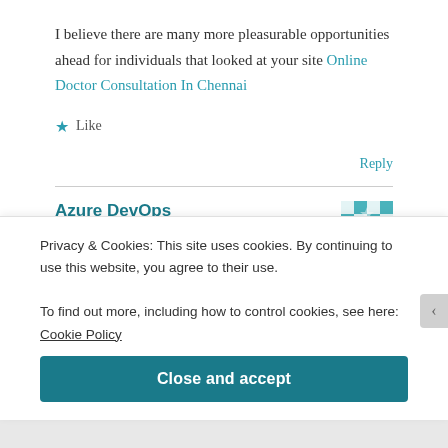I believe there are many more pleasurable opportunities ahead for individuals that looked at your site Online Doctor Consultation In Chennai
★ Like
Reply
Azure DevOps
June 12, 2020 at 7:02 am
Privacy & Cookies: This site uses cookies. By continuing to use this website, you agree to their use.
To find out more, including how to control cookies, see here: Cookie Policy
Close and accept